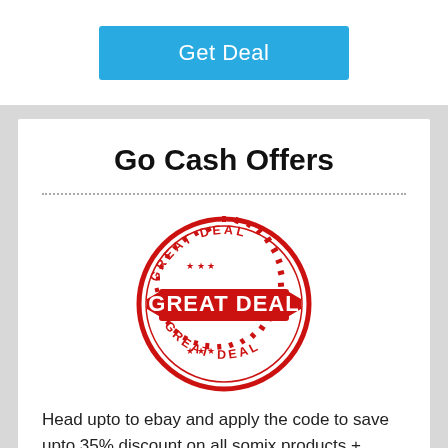[Figure (other): Blue 'Get Deal' button on white background]
Go Cash Offers
[Figure (illustration): Red circular stamp/seal graphic with text 'GREAT DEAL' repeated around and across the center, with ribbon banners]
Head upto to ebay and apply the code to save upto 35% discount on all somix products + receive upto 60% off on selected products
✓ Verified